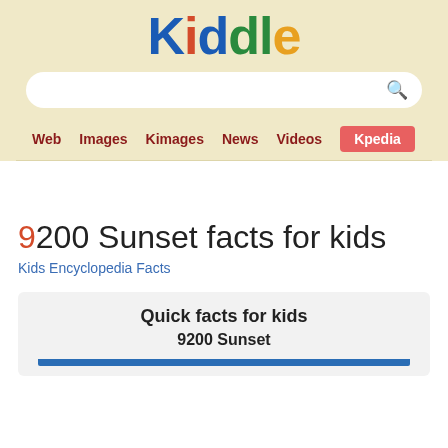Kiddle
9200 Sunset facts for kids
Kids Encyclopedia Facts
| Quick facts for kids |
| 9200 Sunset |